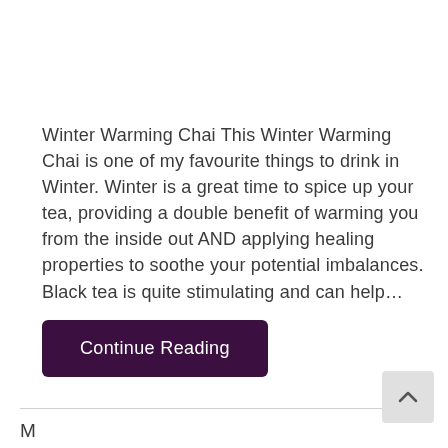Winter Warming Chai This Winter Warming Chai is one of my favourite things to drink in Winter. Winter is a great time to spice up your tea, providing a double benefit of warming you from the inside out AND applying healing properties to soothe your potential imbalances. Black tea is quite stimulating and can help…
Continue Reading